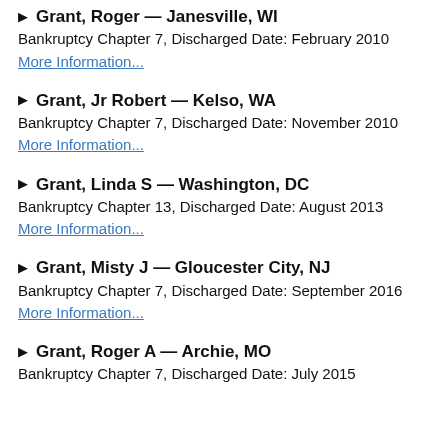▶ Grant, Roger — Janesville, WI
Bankruptcy Chapter 7, Discharged Date: February 2010
More Information...
▶ Grant, Jr Robert — Kelso, WA
Bankruptcy Chapter 7, Discharged Date: November 2010
More Information...
▶ Grant, Linda S — Washington, DC
Bankruptcy Chapter 13, Discharged Date: August 2013
More Information...
▶ Grant, Misty J — Gloucester City, NJ
Bankruptcy Chapter 7, Discharged Date: September 2016
More Information...
▶ Grant, Roger A — Archie, MO
Bankruptcy Chapter 7, Discharged Date: July 2015